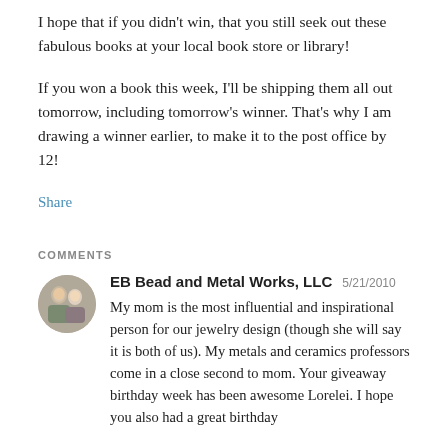I hope that if you didn't win, that you still seek out these fabulous books at your local book store or library!
If you won a book this week, I'll be shipping them all out tomorrow, including tomorrow's winner. That's why I am drawing a winner earlier, to make it to the post office by 12!
Share
COMMENTS
EB Bead and Metal Works, LLC  5/21/2010
My mom is the most influential and inspirational person for our jewelry design (though she will say it is both of us). My metals and ceramics professors come in a close second to mom. Your giveaway birthday week has been awesome Lorelei. I hope you also had a great birthday